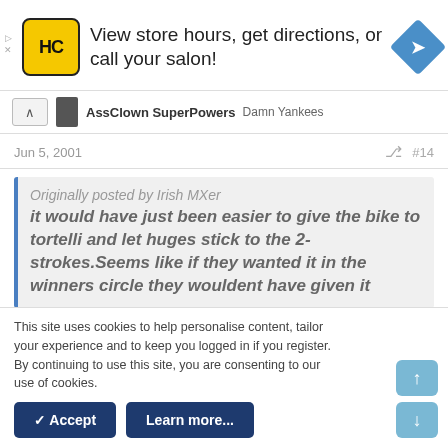[Figure (other): Advertisement banner: HC logo (yellow background), text 'View store hours, get directions, or call your salon!', blue navigation diamond icon on right]
AssClown SuperPowers  Damn Yankees
Jun 5, 2001  #14
Originally posted by Irish MXer
it would have just been easier to give the bike to tortelli and let huges stick to the 2-strokes.Seems like if they wanted it in the winners circle they wouldent have given it
This site uses cookies to help personalise content, tailor your experience and to keep you logged in if you register.
By continuing to use this site, you are consenting to our use of cookies.
✓ Accept   Learn more...